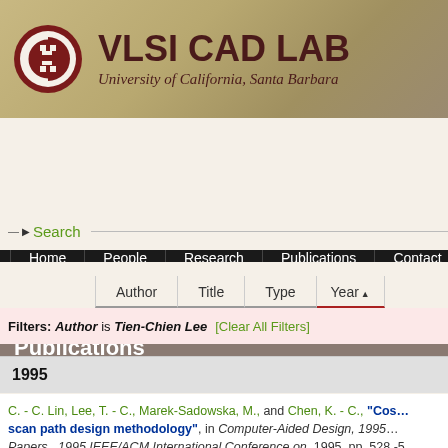[Figure (logo): VLSI CAD LAB logo with circular icon and text, University of California, Santa Barbara]
VLSI CAD LAB
University of California, Santa Barbara
Home | People | Research | Publications | Contact
Publications
▶ Search
Author | Title | Type | Year▲
Filters: Author is Tien-Chien Lee  [Clear All Filters]
1995
C. - C. Lin, Lee, T. - C., Marek-Sadowska, M., and Chen, K. - C., "Cos… scan path design methodology", in Computer-Aided Design, 1995 … Papers., 1995 IEEE/ACM International Conference on, 1995, pp. 528 -5